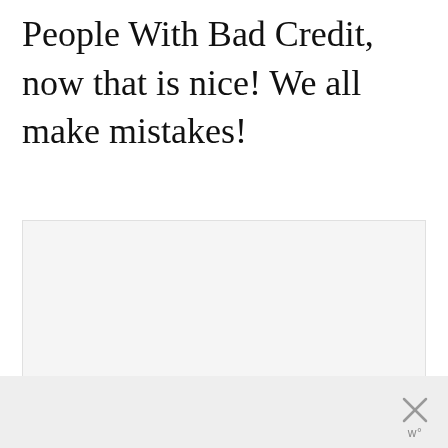People With Bad Credit, now that is nice! We all make mistakes!
[Figure (other): Advertisement placeholder box with three loading dots in the center and a light gray background]
[Figure (other): Bottom bar with close (X) button and 'w°' label in the lower right corner]